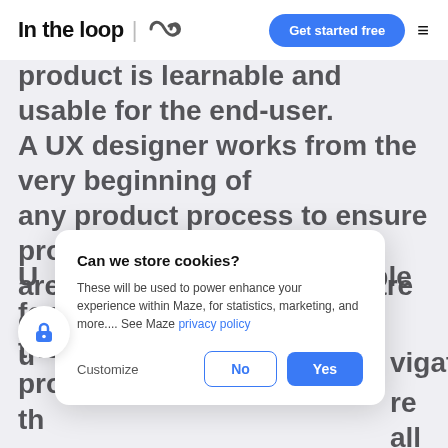In the loop | [logo icon] | Get started free | ≡
product is learnable and usable for the end-user. A UX designer works from the very beginning of any product process to ensure product teams are building products that are conscious of their u...
Can we store cookies?
These will be used to power enhance your experience within Maze, for statistics, marketing, and more.... See Maze privacy policy
Customize  No  Yes
...vigation, ...re all of ...reate an ...
U...signers are responsible for more than just the product experience and product lifecycle — th...